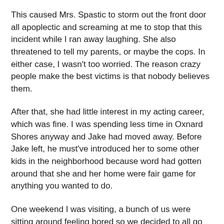This caused Mrs. Spastic to storm out the front door all apoplectic and screaming at me to stop that this incident while I ran away laughing. She also threatened to tell my parents, or maybe the cops. In either case, I wasn't too worried. The reason crazy people make the best victims is that nobody believes them.
After that, she had little interest in my acting career, which was fine. I was spending less time in Oxnard Shores anyway and Jake had moved away. Before Jake left, he must've introduced her to some other kids in the neighborhood because word had gotten around that she and her home were fair game for anything you wanted to do.
One weekend I was visiting, a bunch of us were sitting around feeling bored so we decided to all go see Mrs. Spastic together. We marched up to her front door and rang the bell.